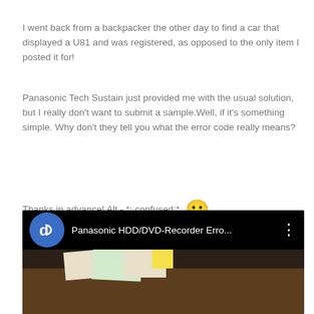I went back from a backpacker the other day to find a car that displayed a U81 and was registered, as opposed to the only item I posted it for!
Panasonic Tech Sustain just provided me with the usual solution, but I really don't want to submit a sample.Well, if it's something simple. Why don't they tell you what the error code really means?
Thanks in advance! Alt - *: confused:* 😕
[Figure (screenshot): YouTube video thumbnail showing 'Panasonic HDD/DVD-Recorder Erro...' with a channel logo (blue circle with white stylized letters) and a three-dot menu icon, over a dark background showing a desk with papers.]